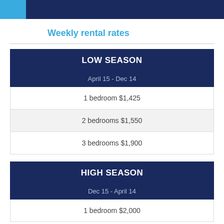Weekly rental rates
| LOW SEASON | April 15 - Dec 14 |
| --- | --- |
| 1 bedroom $1,425 |
| 2 bedrooms $1,550 |
| 3 bedrooms $1,900 |
| HIGH SEASON | Dec 15 - April 14 |
| --- | --- |
| 1 bedroom $2,000 |